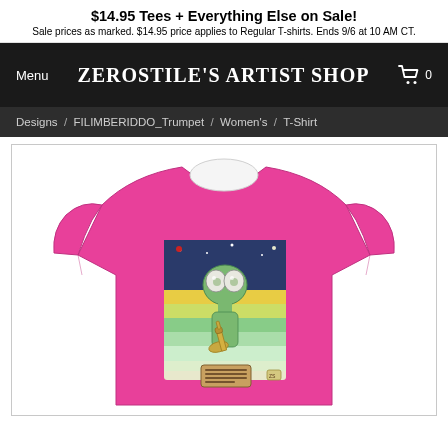$14.95 Tees + Everything Else on Sale! Sale prices as marked. $14.95 price applies to Regular T-shirts. Ends 9/6 at 10 AM CT.
ZEROSTILE'S ARTIST SHOP
Menu
Designs / FILIMBERIDDO_Trumpet / Women's / T-Shirt
[Figure (photo): Pink women's t-shirt with a cartoon alien character holding a trumpet, with a colorful striped background design on the shirt graphic. Product listing image from Zerostile's Artist Shop.]